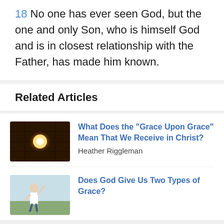18 No one has ever seen God, but the one and only Son, who is himself God and is in closest relationship with the Father, has made him known.
Related Articles
[Figure (photo): Thumbnail image showing a glowing light through a dark wooden background]
What Does the "Grace Upon Grace" Mean That We Receive in Christ?
Heather Riggleman
[Figure (photo): Thumbnail image of a woman standing in a field with her hand raised]
Does God Give Us Two Types of Grace?